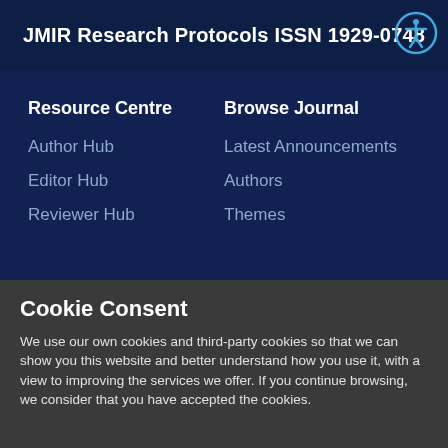JMIR Research Protocols ISSN 1929-0748
Resource Centre
Author Hub
Editor Hub
Reviewer Hub
Browse Journal
Latest Announcements
Authors
Themes
Cookie Consent
We use our own cookies and third-party cookies so that we can show you this website and better understand how you use it, with a view to improving the services we offer. If you continue browsing, we consider that you have accepted the cookies.
Accept all